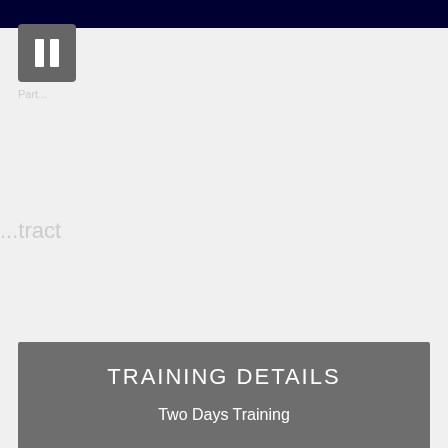[Figure (screenshot): Dark navy blue top bar header strip]
[Figure (other): Gray pause button icon (two vertical bars) on dark gray square background]
...tract
TRAINING DETAILS
Two Days Training